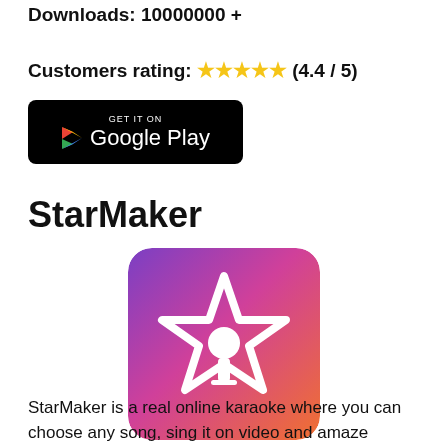Downloads: 10000000 +
Customers rating: ★★★★★ (4.4 / 5)
[Figure (logo): GET IT ON Google Play button - black rounded rectangle badge with Google Play triangle logo and text]
StarMaker
[Figure (logo): StarMaker app icon - purple to pink to orange gradient square with rounded corners, containing a white outlined star shape with a microphone silhouette inside]
StarMaker is a real online karaoke where you can choose any song, sing it on video and amaze everyone with your talent.